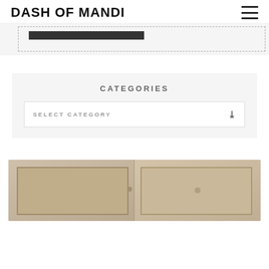DASH OF MANDI
[Figure (other): Dashed rectangle ad placeholder banner]
CATEGORIES
SELECT CATEGORY
[Figure (photo): Kitchen cabinet photo showing beige/cream colored cabinets]